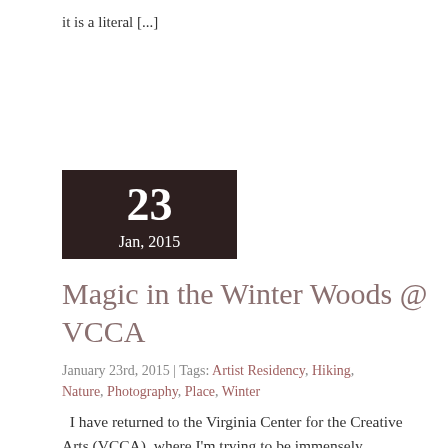it is a literal [...]
[Figure (other): Dark brown date box showing '23' in large bold white text and 'Jan, 2015' below it]
Magic in the Winter Woods @ VCCA
January 23rd, 2015 | Tags: Artist Residency, Hiking, Nature, Photography, Place, Winter
I have returned to the Virginia Center for the Creative Arts (VCCA), where I'm trying to be immensely productive during my two-week residency. When I get tired, or need to rev [...]